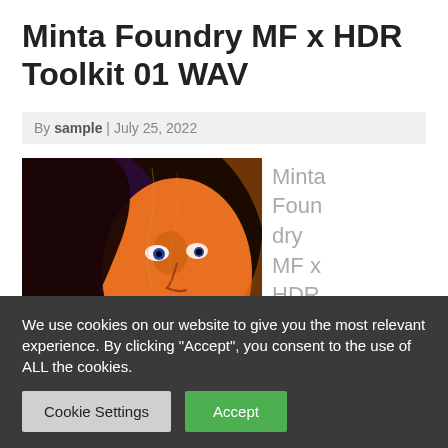Minta Foundry MF x HDR Toolkit 01 WAV
By sample | July 25, 2022
[Figure (illustration): Album art for Minta Foundry MF x HDR Toolkit 01, showing a stylized illustration of a woman's face with orange tones and a dark background with text 'TOOLKIT 01']
Minta Foundry MF x HDR Toolki
We use cookies on our website to give you the most relevant experience. By clicking "Accept", you consent to the use of ALL the cookies.
Cookie Settings
Accept